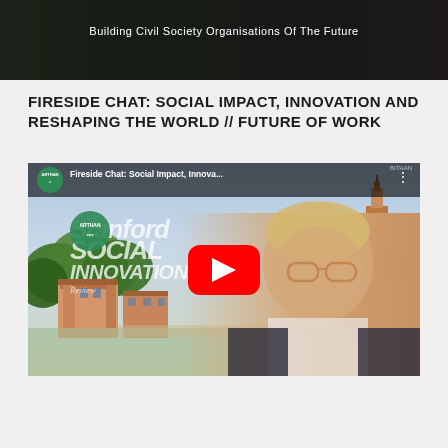[Figure (screenshot): Dark banner image with text 'Building Civil Society Organisations Of The Future' overlaid on a dark/aerial background photo]
FIRESIDE CHAT: SOCIAL IMPACT, INNOVATION AND RESHAPING THE WORLD // FUTURE OF WORK
[Figure (screenshot): YouTube video thumbnail showing a fireside chat titled 'Fireside Chat: Social Impact, Innova...' with Arthan logo, Stanford campus aerial view in background, a man with glasses in foreground, and a red YouTube play button in the center. Text overlay includes Stanford Social Innovation Review branding. Label 'BITHAN' visible in top right corner.]